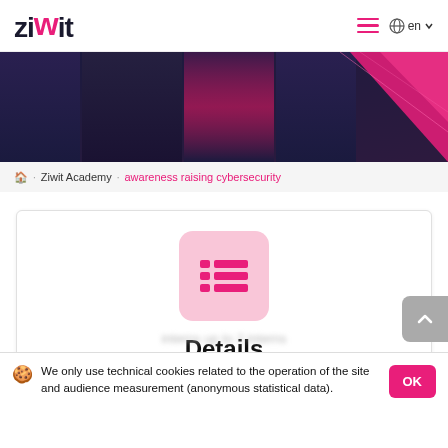ziwit | en
[Figure (illustration): Dark geometric hero banner with purple/navy and pink accent shapes]
🏠 · Ziwit Academy · awareness raising cybersecurity
[Figure (illustration): Pink rounded square icon with three horizontal lines (list icon)]
Details
Duration: 1 day of training
We only use technical cookies related to the operation of the site and audience measurement (anonymous statistical data).